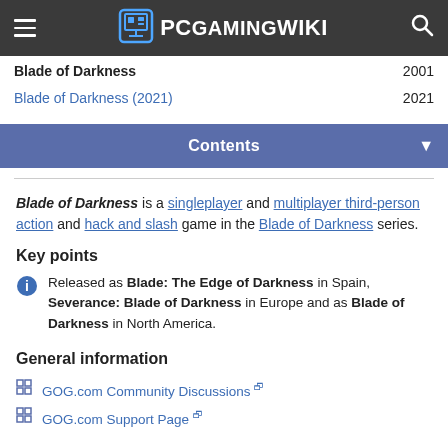PCGamingWiki
| Game | Year |
| --- | --- |
| Blade of Darkness | 2001 |
| Blade of Darkness (2021) | 2021 |
Contents
Blade of Darkness is a singleplayer and multiplayer third-person action and hack and slash game in the Blade of Darkness series.
Key points
Released as Blade: The Edge of Darkness in Spain, Severance: Blade of Darkness in Europe and as Blade of Darkness in North America.
General information
GOG.com Community Discussions
GOG.com Support Page